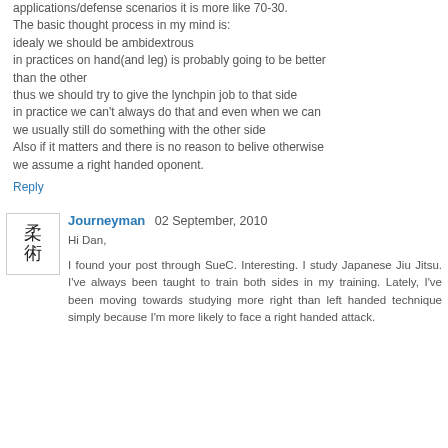applications/defense scenarios it is more like 70-30. The basic thought process in my mind is: idealy we should be ambidextrous in practices on hand(and leg) is probably going to be better than the other thus we should try to give the lynchpin job to that side in practice we can't always do that and even when we can we usually still do something with the other side Also if it matters and there is no reason to belive otherwise we assume a right handed oponent.
Reply
Journeyman 02 September, 2010
Hi Dan,
I found your post through SueC. Interesting. I study Japanese Jiu Jitsu. I've always been taught to train both sides in my training. Lately, I've been moving towards studying more right than left handed technique simply because I'm more likely to face a right handed attack.